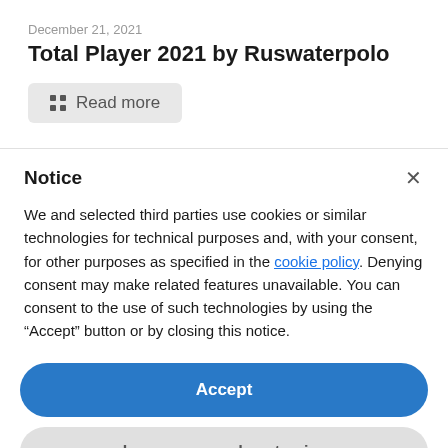December 21, 2021
Total Player 2021 by Ruswaterpolo
Read more
Notice
We and selected third parties use cookies or similar technologies for technical purposes and, with your consent, for other purposes as specified in the cookie policy. Denying consent may make related features unavailable. You can consent to the use of such technologies by using the “Accept” button or by closing this notice.
Accept
Learn more and customize